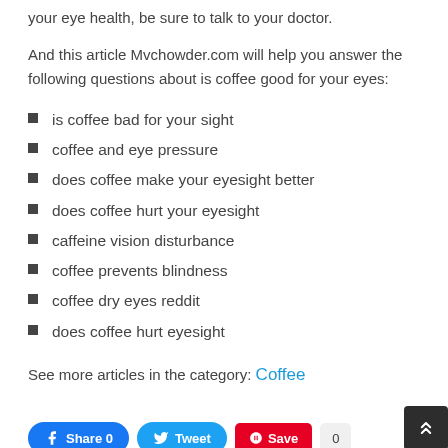your eye health, be sure to talk to your doctor.
And this article Mvchowder.com will help you answer the following questions about is coffee good for your eyes:
is coffee bad for your sight
coffee and eye pressure
does coffee make your eyesight better
does coffee hurt your eyesight
caffeine vision disturbance
coffee prevents blindness
coffee dry eyes reddit
does coffee hurt eyesight
See more articles in the category: Coffee